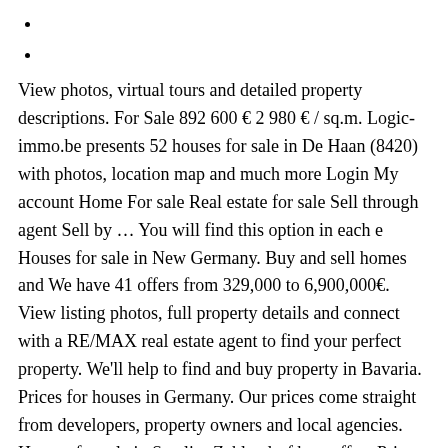View photos, virtual tours and detailed property descriptions. For Sale 892 600 € 2 980 € / sq.m. Logic-immo.be presents 52 houses for sale in De Haan (8420) with photos, location map and much more Login My account Home For sale Real estate for sale Sell through agent Sell by … You will find this option in each e Houses for sale in New Germany. Buy and sell homes and We have 41 offers from 329,000 to 6,900,000€. View listing photos, full property details and connect with a RE/MAX real estate agent to find your perfect property. We'll help to find and buy property in Bavaria. Prices for houses in Germany. Our prices come straight from developers, property owners and local agencies. Houses for sale in Steglitz-Zehlendorf best offers Prices from 10,000 € Cottages and mansions from the leading real estate agencies and the owners Free advice. Zillow has 22 homes for sale in Germany Clayton. Thank you for your inquiry. You can edit or delete this alert at any time. 2 Semi-Detached HousesLeitzkau, GommernOn offer for sale in Germany are two semi-detached houses arranged internally to provide eight apartments. Apartment 2 with about 80 m² living Real estate for sale in Bavaria, Germany: 41 houses and apartments at prices from 96,000 €. The sprawling town of Chatsworth is … Shop with confidence on eBay! The largest selection of apartments, flats, farms, repossessed property, private